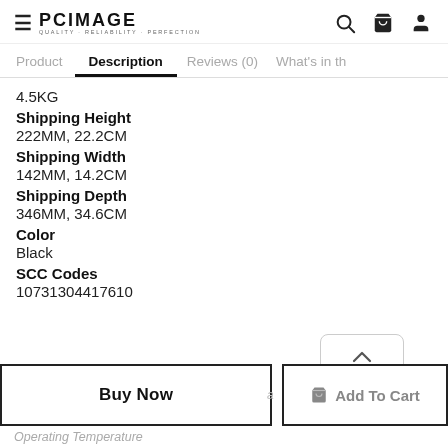PC IMAGE — hamburger menu, search, cart, user icons
Product  Description  Reviews (0)  What's in th
4.5KG
Shipping Height
222MM, 22.2CM
Shipping Width
142MM, 14.2CM
Shipping Depth
346MM, 34.6CM
Color
Black
SCC Codes
10731304417610
Buy Now
Add To Cart
Operating Temperature